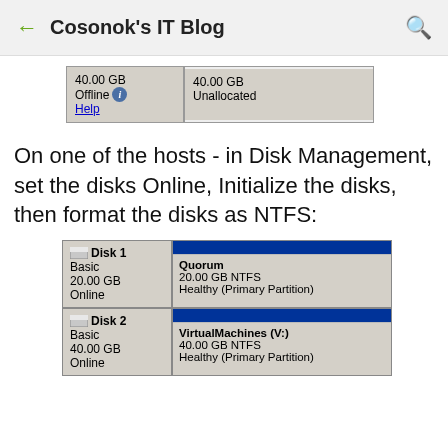Cosonok's IT Blog
[Figure (screenshot): Windows Disk Management screenshot showing a 40.00 GB Offline disk with Help link, and 40.00 GB Unallocated partition]
On one of the hosts - in Disk Management, set the disks Online, Initialize the disks, then format the disks as NTFS:
[Figure (screenshot): Windows Disk Management showing Disk 1 (Basic, 20.00 GB, Online) with Quorum 20.00 GB NTFS Healthy (Primary Partition), and Disk 2 (Basic, 40.00 GB, Online) with VirtualMachines (V:) 40.00 GB NTFS Healthy (Primary Partition)]